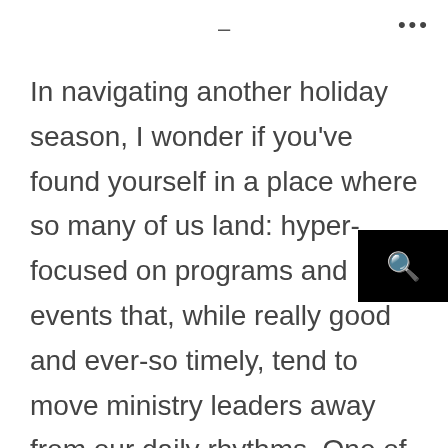– …
In navigating another holiday season, I wonder if you've found yourself in a place where so many of us land: hyper-focused on programs and events that, while really good and ever-so timely, tend to move ministry leaders away from our daily rhythms. One of the rhythms that I try not to lose sight of amidst the hustle and bustle is showing pastoral generosity to the people in my community